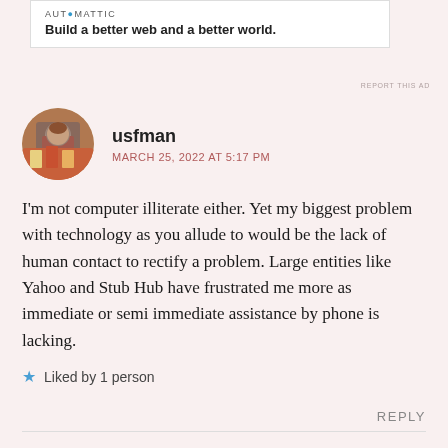[Figure (other): Automattic advertisement banner: logo text 'AUTOMATTIC' and tagline 'Build a better web and a better world.']
REPORT THIS AD
[Figure (photo): Circular avatar photo of a person wearing a colorful shirt, standing in a room with shelves in background.]
usfman
MARCH 25, 2022 AT 5:17 PM
I'm not computer illiterate either. Yet my biggest problem with technology as you allude to would be the lack of human contact to rectify a problem. Large entities like Yahoo and Stub Hub have frustrated me more as immediate or semi immediate assistance by phone is lacking.
Liked by 1 person
REPLY